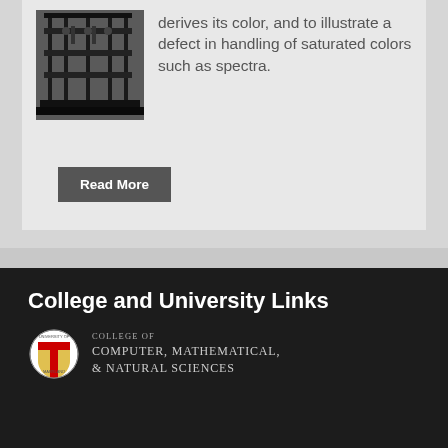derives its color, and to illustrate a defect in handling of saturated colors such as spectra.
[Figure (photo): Black and white photograph of scientific/optical equipment with vertical rods and mechanical components]
Read More
College and University Links
[Figure (logo): University of Maryland College of Computer, Mathematical, & Natural Sciences logo with small UMD shield]
[Figure (logo): University of Maryland full logo with large UMD shield and text UNIVERSITY OF MARYLAND]